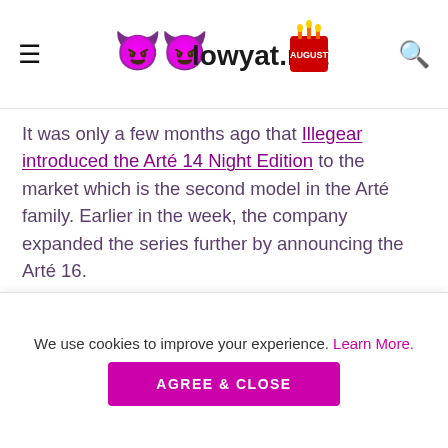lowyat.net
It was only a few months ago that Illegear introduced the Arté 14 Night Edition to the market which is the second model in the Arté family. Earlier in the week, the company expanded the series further by announcing the Arté 16.
As you might be able to guess from its name, the new model carries a 16-inch display as opposed to the 14-inch display on the Arté 14. Despite that, the screen resolution remains identical at 2880 x 1800, although Arté 16's
We use cookies to improve your experience. Learn More.